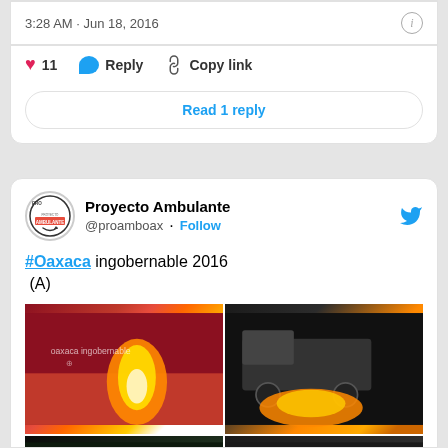3:28 AM · Jun 18, 2016
11   Reply   Copy link
Read 1 reply
Proyecto Ambulante @proamboax · Follow
#Oaxaca ingobernable 2016
(A)
[Figure (photo): Four-image grid showing protest scenes in Oaxaca 2016: fire, graffiti, trucks, and signs reading 'VIVA LA INSURRECCION']